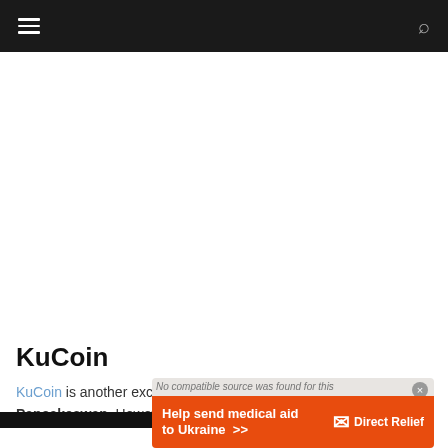[Navigation bar with hamburger menu and search icon]
[Figure (other): Advertisement or blank white space area]
KuCoin
KuCoin is another exchange that you can use to buy Pancakeswap. However, you
[Figure (other): Overlay advertisement banner: Help send medical aid to Ukraine >> Direct Relief, with error overlay 'No compatible source was found for this media.']